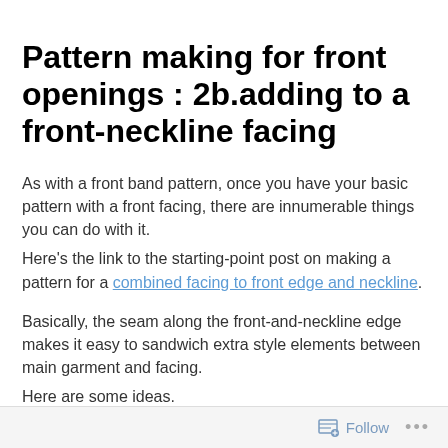Pattern making for front openings : 2b.adding to a front-neckline facing
As with a front band pattern, once you have your basic pattern with a front facing, there are innumerable things you can do with it.
Here's the link to the starting-point post on making a pattern for a combined facing to front edge and neckline.
Basically, the seam along the front-and-neckline edge makes it easy to sandwich extra style elements between main garment and facing.
Here are some ideas.
Follow ···